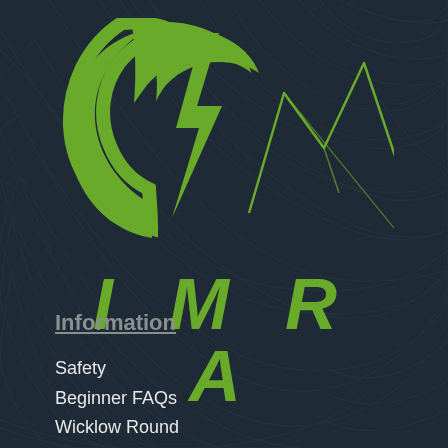[Figure (logo): IMRA logo with green mountain/lightning bolt graphic and stylized green italic IMRA letters on dark navy background with topographic contour lines]
Information
Safety
Beginner FAQs
Wicklow Round
Privacy Policy
Committee